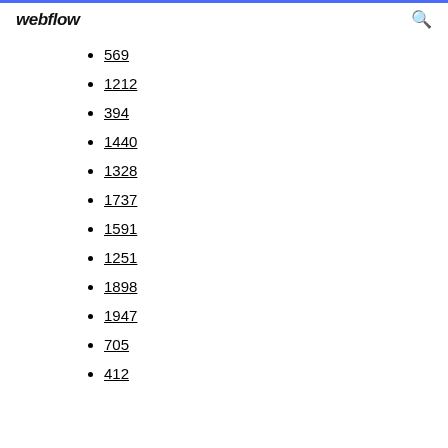webflow
569
1212
394
1440
1328
1737
1591
1251
1898
1947
705
412